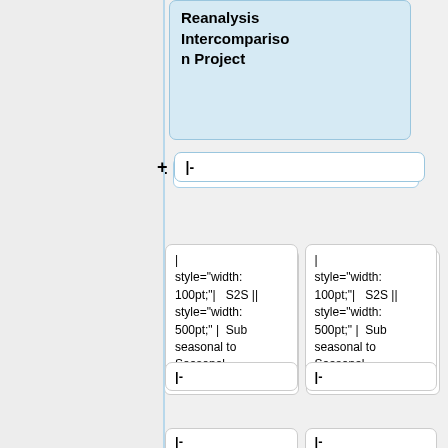Reanalysis Intercomparison Project
|-
| style="width: 100pt;"| S2S || style="width: 500pt;" | Sub seasonal to Seasonal
| style="width: 100pt;"| S2S || style="width: 500pt;" | Sub seasonal to Seasonal
|-
|-
Line 607:
Line 728:
|-
|-
| style="width: 100pt;"| [https://earth.esa.
| style="width: 100pt;"| [https://earth.esa.